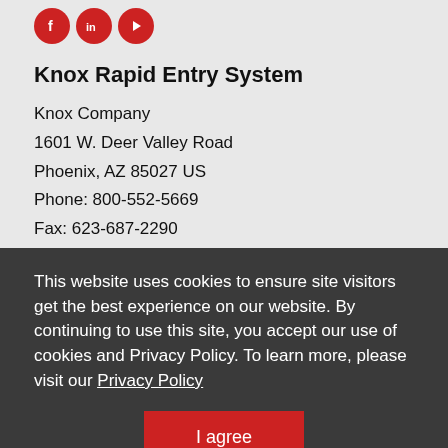[Figure (illustration): Three circular red social media icons: Facebook (f), LinkedIn (in), YouTube (play button)]
Knox Rapid Entry System
Knox Company
1601 W. Deer Valley Road
Phoenix, AZ 85027 US
Phone: 800-552-5669
Fax: 623-687-2290
This website uses cookies to ensure site visitors get the best experience on our website. By continuing to use this site, you accept our use of cookies and Privacy Policy. To learn more, please visit our Privacy Policy
I agree